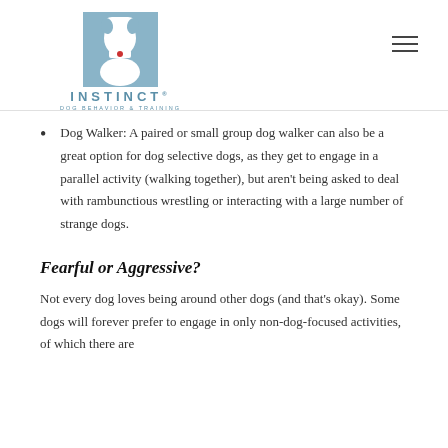INSTINCT DOG BEHAVIOR & TRAINING
Dog Walker: A paired or small group dog walker can also be a great option for dog selective dogs, as they get to engage in a parallel activity (walking together), but aren't being asked to deal with rambunctious wrestling or interacting with a large number of strange dogs.
Fearful or Aggressive?
Not every dog loves being around other dogs (and that's okay). Some dogs will forever prefer to engage in only non-dog-focused activities, of which there are